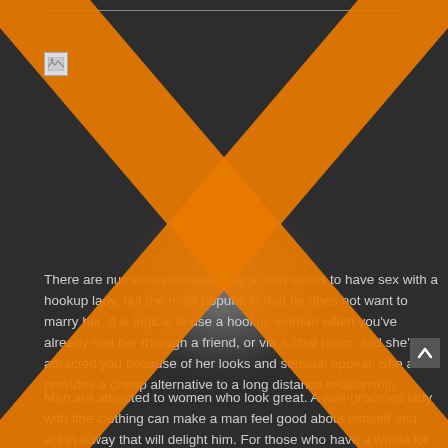[Figure (illustration): Large orange X shape overlaid on a dark background, covering most of the page as a watermark or block overlay, with a small broken image icon in the top-left area]
There are numerous reasons why a man wants to have sex with a hookup lady, but the most popular is that he does not want to marry her. It is logical to use a hookup woman when you've already met her through a friend, or via a chat room, and she's attracted you because of her looks and sensual appeal. She also provides a cheap alternative to a long distance relationship.
Men are attracted to women who look great. A well-groomed lady with fine clothing can make a man feel good about himself and act in a way that will delight him. For those who have a whole lot